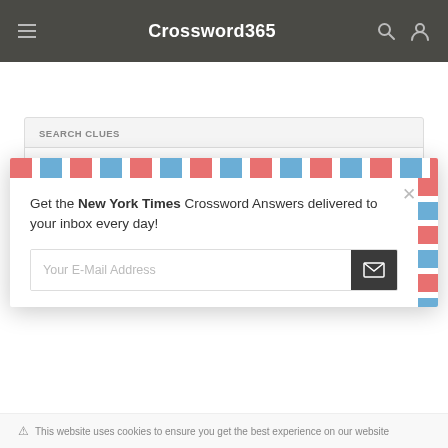Crossword365
SEARCH CLUES
Type in your clue and hit Search!
Get the New York Times Crossword Answers delivered to your inbox every day!
Your E-Mail Address
This website uses cookies to ensure you get the best experience on our website